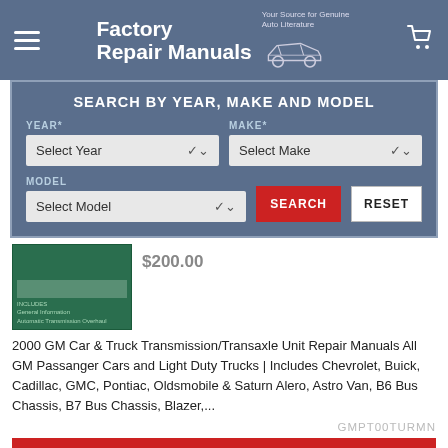[Figure (screenshot): Factory Repair Manuals website header with logo, car illustration, hamburger menu, and cart icon on blue-grey background]
SEARCH BY YEAR, MAKE AND MODEL
YEAR* — Select Year dropdown | MAKE* — Select Make dropdown | MODEL — Select Model dropdown | SEARCH button | RESET button
[Figure (photo): Green book cover — 2000 GM Car & Truck Transmission/Transaxle Unit Repair Manuals]
$200.00
2000 GM Car & Truck Transmission/Transaxle Unit Repair Manuals All GM Passanger Cars and Light Duty Trucks | Includes Chevrolet, Buick, Cadillac, GMC, Pontiac, Oldsmobile & Saturn Alero, Astro Van, B6 Bus Chassis, B7 Bus Chassis, Blazer,...
GMPT00TURMN
CHOOSE OPTIONS